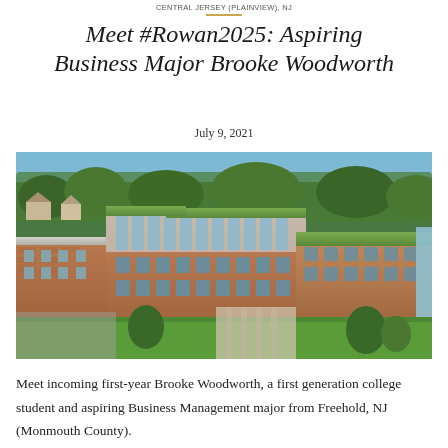CENTRAL JERSEY (PLAINVIEW), NJ
Meet #Rowan2025: Aspiring Business Major Brooke Woodworth
July 9, 2021
[Figure (photo): Aerial photograph of Rowan University campus building, a modern multi-story brick and glass structure with green roof sections, surrounded by trees and landscaping.]
Meet incoming first-year Brooke Woodworth, a first generation college student and aspiring Business Management major from Freehold, NJ (Monmouth County).